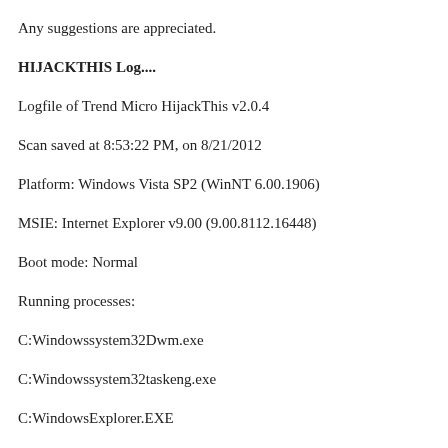Any suggestions are appreciated.
HIJACKTHIS Log....
Logfile of Trend Micro HijackThis v2.0.4
Scan saved at 8:53:22 PM, on 8/21/2012
Platform: Windows Vista SP2 (WinNT 6.00.1906)
MSIE: Internet Explorer v9.00 (9.00.8112.16448)
Boot mode: Normal
Running processes:
C:Windowssystem32Dwm.exe
C:Windowssystem32taskeng.exe
C:WindowsExplorer.EXE
C:Windowssystem32wuauclt.exe
C:Program FilesInternet Exploreriexplore.exe